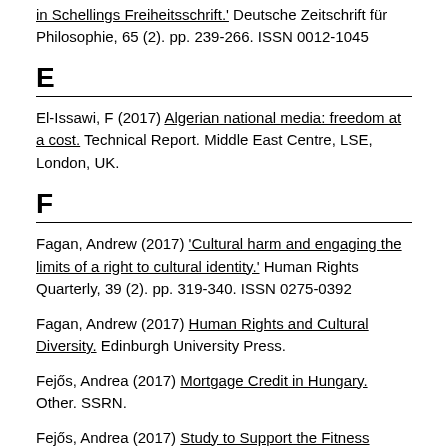in Schellings Freiheitsschrift.' Deutsche Zeitschrift für Philosophie, 65 (2). pp. 239-266. ISSN 0012-1045
E
El-Issawi, F (2017) Algerian national media: freedom at a cost. Technical Report. Middle East Centre, LSE, London, UK.
F
Fagan, Andrew (2017) 'Cultural harm and engaging the limits of a right to cultural identity.' Human Rights Quarterly, 39 (2). pp. 319-340. ISSN 0275-0392
Fagan, Andrew (2017) Human Rights and Cultural Diversity. Edinburgh University Press.
Fejős, Andrea (2017) Mortgage Credit in Hungary. Other. SSRN.
Fejős, Andrea (2017) Study to Support the Fitness Check of EU Consumer Law; Country Report Hungary in Study for the Fitness Check of EU Consumer and Marketing Law. Final report Part 3-Country